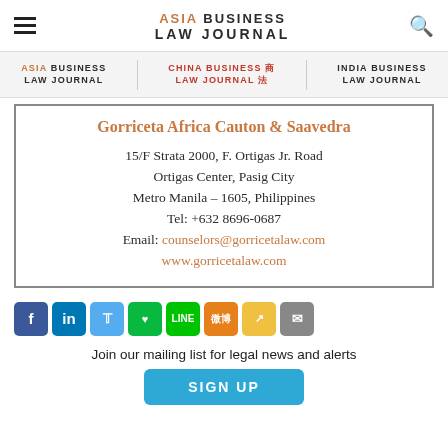ASIA BUSINESS LAW JOURNAL
[Figure (logo): Asia Business Law Journal logo with China Business Law Journal and India Business Law Journal sub-brand navigation bar]
Gorriceta Africa Cauton & Saavedra
15/F Strata 2000, F. Ortigas Jr. Road
Ortigas Center, Pasig City
Metro Manila – 1605, Philippines
Tel: +632 8696-0687
Email: counselors@gorricetalaw.com
www.gorricetalaw.com
[Figure (infographic): Social media sharing icons row: Facebook, LinkedIn, Twitter, WeChat, LINE, Weibo, share, email]
Join our mailing list for legal news and alerts
SIGN UP